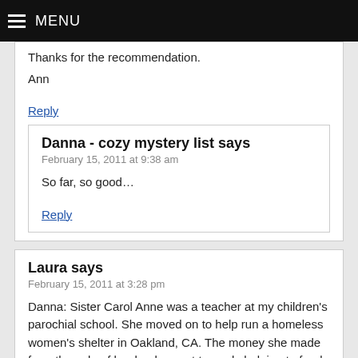MENU
Thanks for the recommendation.
Ann
Reply
Danna - cozy mystery list says
February 15, 2011 at 9:38 am
So far, so good…
Reply
Laura says
February 15, 2011 at 3:28 pm
Danna: Sister Carol Anne was a teacher at my children's parochial school. She moved on to help run a homeless women's shelter in Oakland, CA. The money she made from the sale of her books went towards helping to fund the